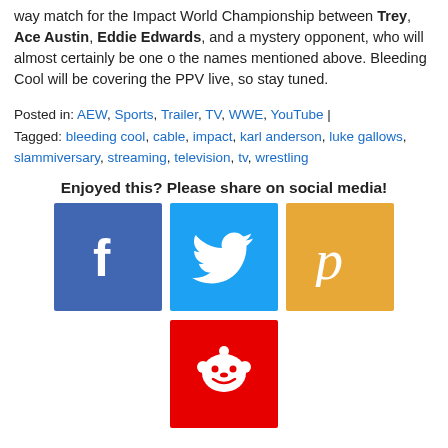way match for the Impact World Championship between Trey, Ace Austin, Eddie Edwards, and a mystery opponent, who will almost certainly be one o the names mentioned above. Bleeding Cool will be covering the PPV live, so stay tuned.
Posted in: AEW, Sports, Trailer, TV, WWE, YouTube | Tagged: bleeding cool, cable, impact, karl anderson, luke gallows, slammiversary, streaming, television, tv, wrestling
Enjoyed this? Please share on social media!
[Figure (logo): Facebook, Twitter, Pinterest, and Reddit social media share buttons]
[Figure (logo): Reddit share button (red background with Reddit alien icon)]